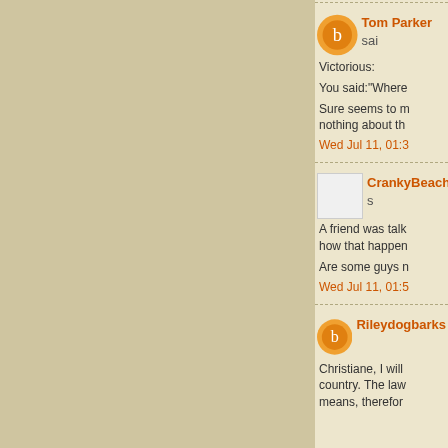Tom Parker said...
Victorious:
You said:"Where
Sure seems to m nothing about th
Wed Jul 11, 01:3
CrankyBeach s
A friend was talk how that happen
Are some guys n
Wed Jul 11, 01:5
Rileydogbarks
Christiane, I will country. The law means, therefor